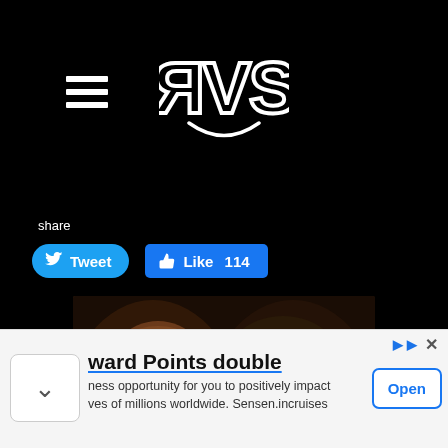[Figure (logo): RVS logo in white outlined block letters on black background]
share
[Figure (screenshot): Tweet button (blue rounded) and Like 114 button (blue Facebook style)]
[Figure (photo): Photo of a young woman and man smiling together, man wearing glasses and a red tie]
[Figure (screenshot): Advertisement banner: 'ward Points double' title, 'ness opportunity for you to positively impact ves of millions worldwide. Sensen.incruises' body text, Open button]